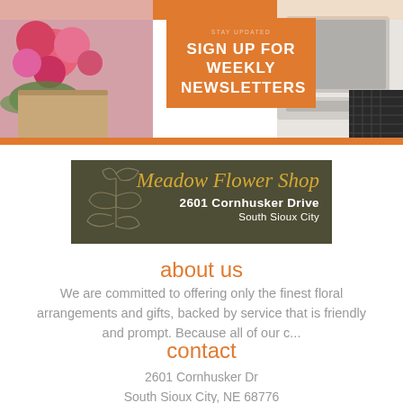[Figure (photo): Top banner with flowers on left, laptop on right, orange 'Sign Up For Weekly Newsletters' box in center]
SIGN UP FOR WEEKLY NEWSLETTERS
[Figure (logo): Meadow Flower Shop logo banner with dark olive background, italic gold text and white address text, decorative flower sketch]
about us
We are committed to offering only the finest floral arrangements and gifts, backed by service that is friendly and prompt. Because all of our c...
contact
2601 Cornhusker Dr
South Sioux City, NE 68776
phone: (402) 494-3034